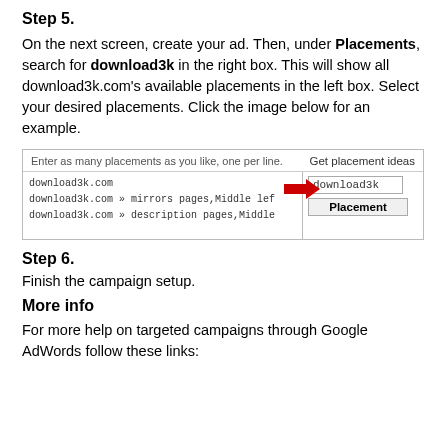Step 5.
On the next screen, create your ad. Then, under Placements, search for download3k in the right box. This will show all download3k.com's available placements in the left box. Select your desired placements. Click the image below for an example.
[Figure (screenshot): Screenshot showing a placements UI with a left panel listing download3k.com entries in monospace, a red arrow pointing right, and a right panel with 'download3k' input and 'Placement' button.]
Step 6.
Finish the campaign setup.
More info
For more help on targeted campaigns through Google AdWords follow these links: